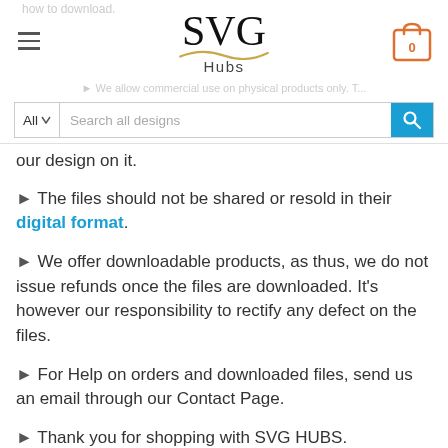SVG Hubs — navigation header with search bar
our design on it.
► The files should not be shared or resold in their digital format.
► We offer downloadable products, as thus, we do not issue refunds once the files are downloaded. It's however our responsibility to rectify any defect on the files.
► For Help on orders and downloaded files, send us an email through our Contact Page.
► Thank you for shopping with SVG HUBS.